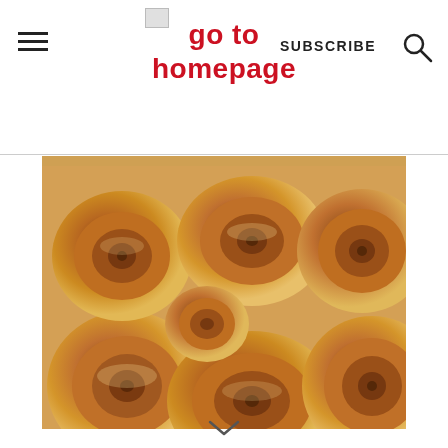go to homepage | SUBSCRIBE
[Figure (photo): Close-up overhead photo of golden-brown cinnamon rolls arranged in a circular pan, showing swirling spiral patterns on top]
[Figure (other): Chevron/arrow pointing down at bottom of page]